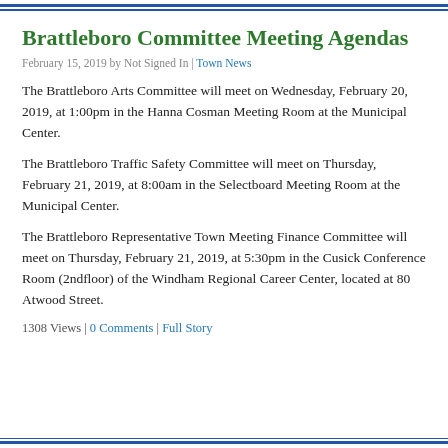Brattleboro Committee Meeting Agendas
February 15, 2019 by Not Signed In | Town News
The Brattleboro Arts Committee will meet on Wednesday, February 20, 2019, at 1:00pm in the Hanna Cosman Meeting Room at the Municipal Center.
The Brattleboro Traffic Safety Committee will meet on Thursday, February 21, 2019, at 8:00am in the Selectboard Meeting Room at the Municipal Center.
The Brattleboro Representative Town Meeting Finance Committee will meet on Thursday, February 21, 2019, at 5:30pm in the Cusick Conference Room (2ndfloor) of the Windham Regional Career Center, located at 80 Atwood Street.
1308 Views | 0 Comments | Full Story